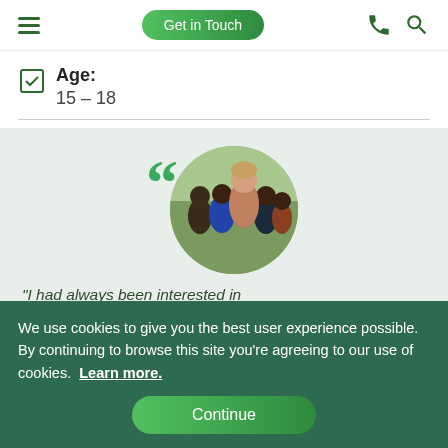Get in Touch
Age: 15-18
[Figure (photo): Circular photo of a young woman smiling with a group of children outdoors]
"I had always been interested in
We use cookies to give you the best user experience possible. By continuing to browse this site you're agreeing to our use of cookies. Learn more.
Continue